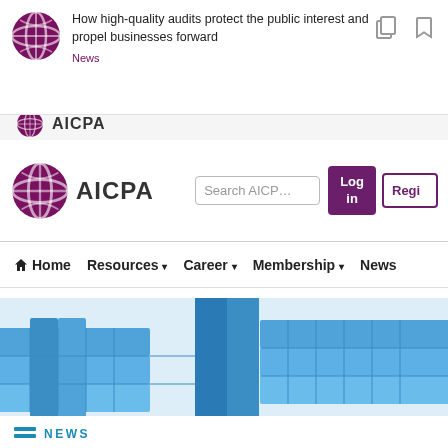How high-quality audits protect the public interest and propel businesses forward
[Figure (logo): AICPA globe logo (small, top bar)]
News
[Figure (logo): AICPA globe logo (main header, larger)]
AICPA
Search AICP...
Log in
Regi...
Home  Resources  Career  Membership  News
[Figure (illustration): 3D blue interlocking block/chain formation on light blue-gray background]
NEWS